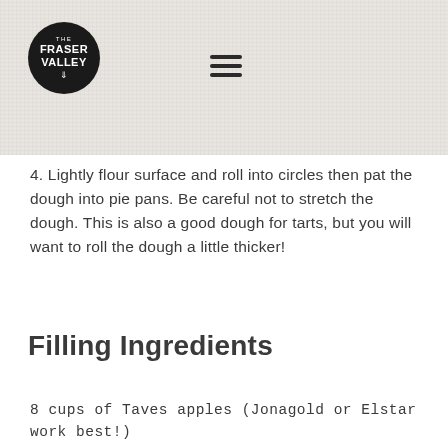[Figure (logo): The Fraser Valley circular logo with black background and white text, with a downward arrow icon]
4. Lightly flour surface and roll into circles then pat the dough into pie pans. Be careful not to stretch the dough. This is also a good dough for tarts, but you will want to roll the dough a little thicker!
Filling Ingredients
8 cups of Taves apples (Jonagold or Elstar work best!)